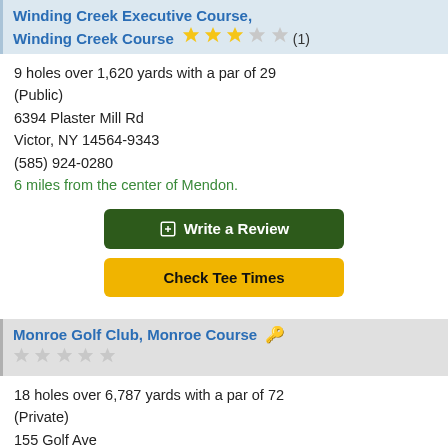Winding Creek Executive Course, Winding Creek Course (1)
9 holes over 1,620 yards with a par of 29 (Public)
6394 Plaster Mill Rd
Victor, NY 14564-9343
(585) 924-0280
6 miles from the center of Mendon.
Write a Review
Check Tee Times
Monroe Golf Club, Monroe Course
18 holes over 6,787 yards with a par of 72 (Private)
155 Golf Ave
Pittsford, NY 14534-1694
(585) 586-3608
7 miles from the center of Mendon.
Write a Review